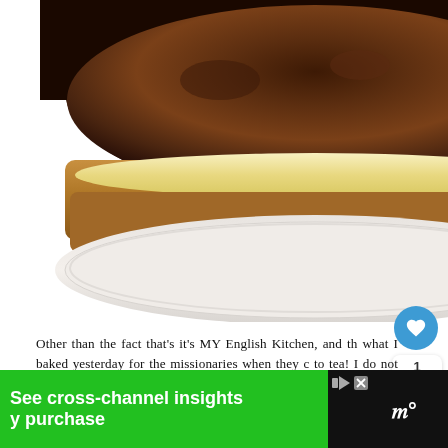[Figure (photo): Close-up photograph of a layered cake with dark chocolate ganache topping and cream filling between two sponge layers, sitting on a decorative white plate]
Other than the fact that's it's MY English Kitchen, and th what I baked yesterday for the missionaries when they c to tea! I do not always cook traditional food here in my kitchen, anymore than anyone else does. Som an Indian meal, or hmmm . . . a Chinese . . . son. cook Spaghetti Bolognaise!
[Figure (infographic): Advertisement banner: 'See cross-channel insights' and 'y purchase' on green background, with play and close icons, and wifi symbol on black background]